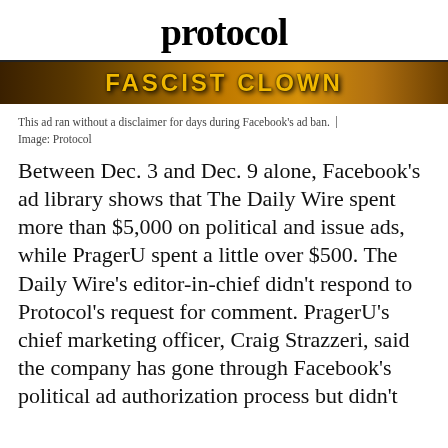protocol
[Figure (photo): A dark image showing text 'FASCIST CLOWN' in yellow letters on a dark background, appearing to be a protest sign or banner.]
This ad ran without a disclaimer for days during Facebook's ad ban.  |  Image: Protocol
Between Dec. 3 and Dec. 9 alone, Facebook's ad library shows that The Daily Wire spent more than $5,000 on political and issue ads, while PragerU spent a little over $500. The Daily Wire's editor-in-chief didn't respond to Protocol's request for comment. PragerU's chief marketing officer, Craig Strazzeri, said the company has gone through Facebook's political ad authorization process but didn't